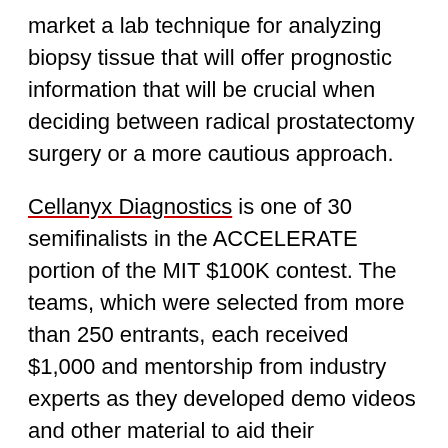market a lab technique for analyzing biopsy tissue that will offer prognostic information that will be crucial when deciding between radical prostatectomy surgery or a more cautious approach.
Cellanyx Diagnostics is one of 30 semifinalists in the ACCELERATE portion of the MIT $100K contest. The teams, which were selected from more than 250 entrants, each received $1,000 and mentorship from industry experts as they developed demo videos and other material to aid their entrepreneurial ventures. Eight finalists will be chosen on Feb. 16, with grand prize and audience choice winners selected on Feb. 22.
Cellanyx Diagnostics was founded by MIT alumnus